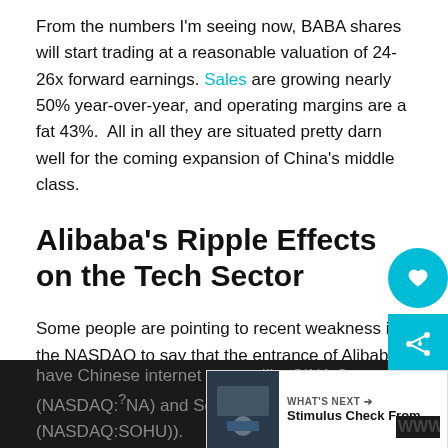From the numbers I'm seeing now, BABA shares will start trading at a reasonable valuation of 24-26x forward earnings. Sales are growing nearly 50% year-over-year, and operating margins are a fat 43%.  All in all they are situated pretty darn well for the coming expansion of China's middle class.
Alibaba's Ripple Effects on the Tech Sector
Some people are pointing to recent weakness in the NASDAQ to say that the entrance of Alibaba is pulling capital away from other areas of the tech sector, or causing money managers have to raise cash in order to buy Alibaba on Friday. I don't think that's necessarily the case, but it's certainly coincidence that two of the closest U.S. proxies – Amazon and Ebay – have traded off the past few days ahead of the IPO, as have Chinese internet names like SINA Corp (NASDAQ:NA) and Sohu.com Inc (NASDAQ:SOHU).